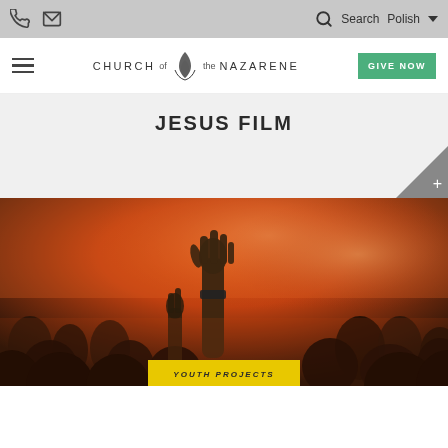Phone | Mail | Search | Polish
[Figure (logo): Church of the Nazarene logo with flame icon and navigation bar with hamburger menu and GIVE NOW button]
JESUS FILM
[Figure (photo): Crowd at a worship event with hands raised, orange/warm lighting, with YOUTH PROJECTS label at the bottom]